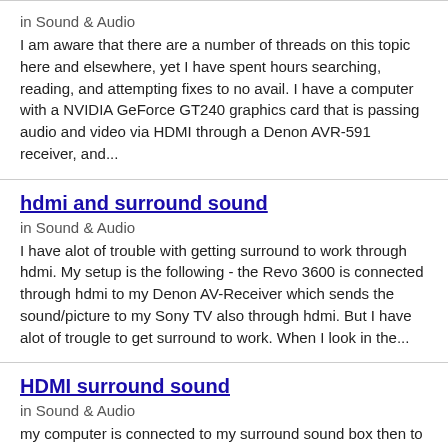in Sound & Audio
I am aware that there are a number of threads on this topic here and elsewhere, yet I have spent hours searching, reading, and attempting fixes to no avail. I have a computer with a NVIDIA GeForce GT240 graphics card that is passing audio and video via HDMI through a Denon AVR-591 receiver, and...
hdmi and surround sound
in Sound & Audio
I have alot of trouble with getting surround to work through hdmi. My setup is the following - the Revo 3600 is connected through hdmi to my Denon AV-Receiver which sends the sound/picture to my Sony TV also through hdmi. But I have alot of trougle to get surround to work. When I look in the...
HDMI surround sound
in Sound & Audio
my computer is connected to my surround sound box then to the TV. But windows only lets you choose 2 ch stero output via the HDMI. The only explaination i could